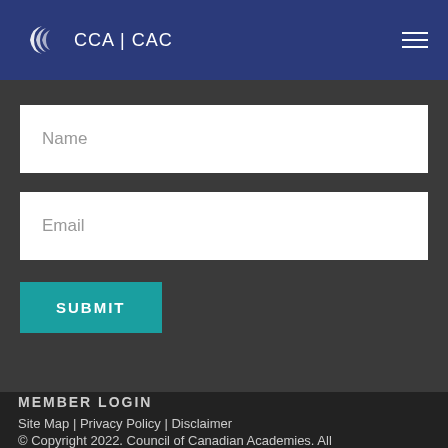[Figure (logo): CCA | CAC logo with stylized wave icon in white on dark blue header background]
Name
Email
SUBMIT
MEMBER LOGIN
Site Map | Privacy Policy | Disclaimer
© Copyright 2022. Council of Canadian Academies. All